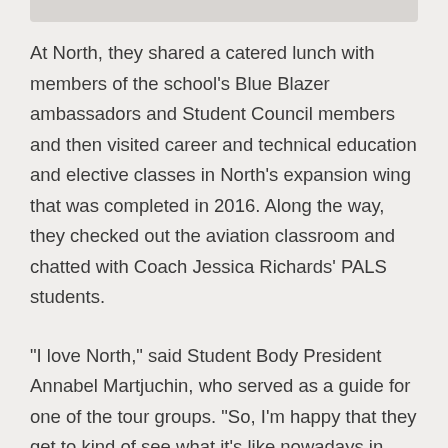At North, they shared a catered lunch with members of the school's Blue Blazer ambassadors and Student Council members and then visited career and technical education and elective classes in North's expansion wing that was completed in 2016. Along the way, they checked out the aviation classroom and chatted with Coach Jessica Richards' PALS students.
"I love North," said Student Body President Annabel Martjuchin, who served as a guide for one of the tour groups. "So, I'm happy that they get to kind of see what it's like nowadays in high school. I like for them to be able to see